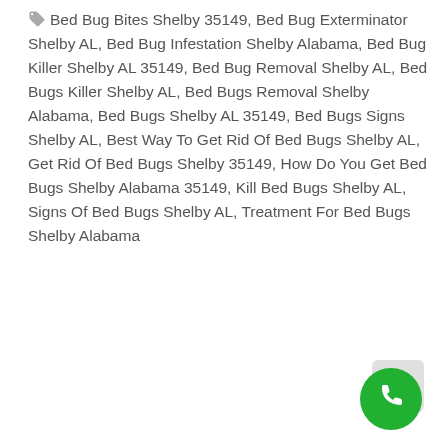Bed Bug Bites Shelby 35149, Bed Bug Exterminator Shelby AL, Bed Bug Infestation Shelby Alabama, Bed Bug Killer Shelby AL 35149, Bed Bug Removal Shelby AL, Bed Bugs Killer Shelby AL, Bed Bugs Removal Shelby Alabama, Bed Bugs Shelby AL 35149, Bed Bugs Signs Shelby AL, Best Way To Get Rid Of Bed Bugs Shelby AL, Get Rid Of Bed Bugs Shelby 35149, How Do You Get Bed Bugs Shelby Alabama 35149, Kill Bed Bugs Shelby AL, Signs Of Bed Bugs Shelby AL, Treatment For Bed Bugs Shelby Alabama
[Figure (other): Green circular phone/call button with white telephone handset icon, positioned bottom-right corner]